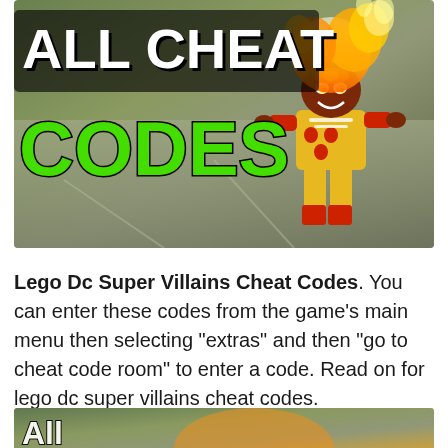[Figure (illustration): LEGO DC Super Villains promotional image showing a LEGO Firestorm character with flame hair on a street background, with bold text overlay reading 'ALL CHEAT CODES' in white and green letters]
Lego Dc Super Villains Cheat Codes. You can enter these codes from the game's main menu then selecting "extras" and then "go to cheat code room" to enter a code. Read on for lego dc super villains cheat codes.
[Figure (photo): Partial bottom image showing same or similar LEGO character promotional image, cropped at bottom of page]